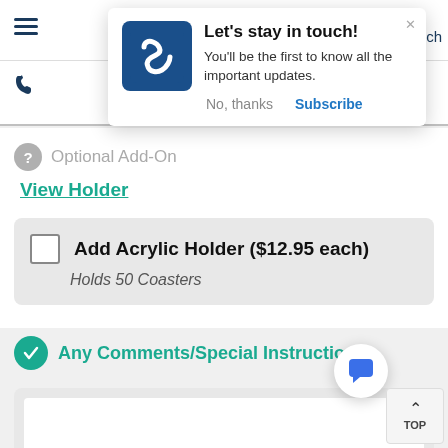[Figure (screenshot): Website popup notification card with logo, title 'Let's stay in touch!', subtitle text, and No thanks / Subscribe buttons]
Optional Add-On
View Holder
Add Acrylic Holder ($12.95 each)
Holds 50 Coasters
Any Comments/Special Instructions